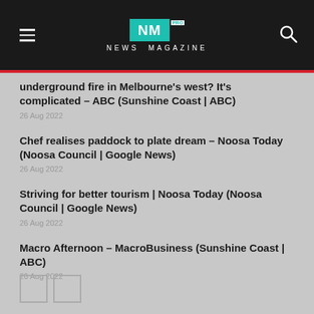NM PRO NEWS MAGAZINE
underground fire in Melbourne's west? It's complicated – ABC (Sunshine Coast | ABC)
26 Aug 2022
Chef realises paddock to plate dream – Noosa Today (Noosa Council | Google News)
26 Aug 2022
Striving for better tourism | Noosa Today (Noosa Council | Google News)
26 Aug 2022
Macro Afternoon – MacroBusiness (Sunshine Coast | ABC)
26 Aug 2022